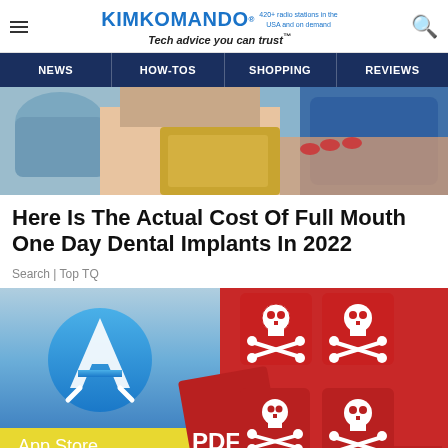KIMKOMANDO® 420+ radio stations in the USA and on demand Tech advice you can trust™
NEWS | HOW-TOS | SHOPPING | REVIEWS
[Figure (photo): Close-up photo of a dental procedure with a gloved hand near a patient's face and a blue tablet/phone]
Here Is The Actual Cost Of Full Mouth One Day Dental Implants In 2022
Search | Top TQ
[Figure (photo): Composite image showing Apple App Store icon on the left and red cards with skull and crossbones symbols on the right, with PDF text overlay and KimKomando watermark]